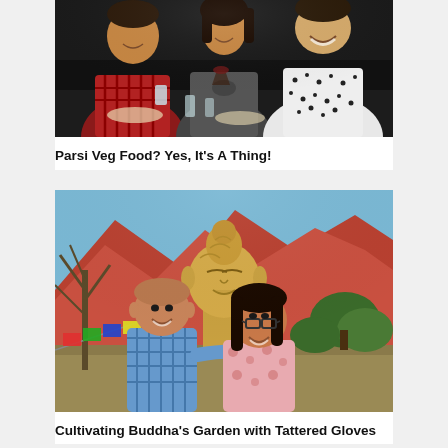[Figure (photo): Three people sitting in a dark restaurant/bar setting, smiling. Man in red plaid shirt on left, woman in grey top in middle, man in black and white patterned shirt on right. Food and drinks on the table.]
Parsi Veg Food? Yes, It's A Thing!
[Figure (photo): A couple standing in front of a large Buddha statue outdoors in a red rock desert landscape (appears to be Sedona, AZ). Man in blue plaid shirt on left, woman in pink floral shirt on right. Prayer flags visible on the left.]
Cultivating Buddha's Garden with Tattered Gloves